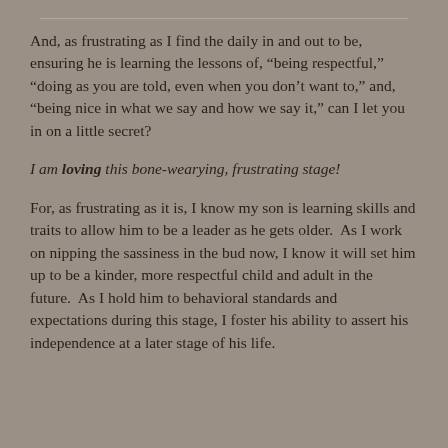And, as frustrating as I find the daily in and out to be, ensuring he is learning the lessons of, “being respectful,” “doing as you are told, even when you don’t want to,” and, “being nice in what we say and how we say it,” can I let you in on a little secret?
I am loving this bone-wearying, frustrating stage!
For, as frustrating as it is, I know my son is learning skills and traits to allow him to be a leader as he gets older.  As I work on nipping the sassiness in the bud now, I know it will set him up to be a kinder, more respectful child and adult in the future.  As I hold him to behavioral standards and expectations during this stage, I foster his ability to assert his independence at a later stage of his life.